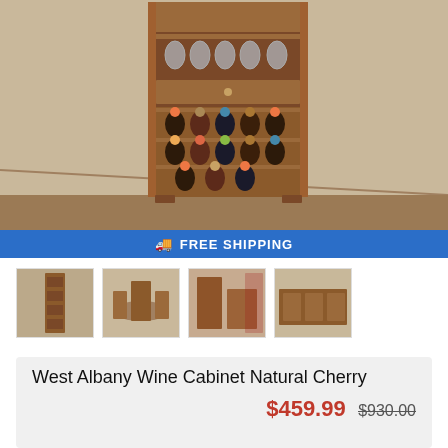[Figure (photo): A wooden West Albany Wine Cabinet in natural cherry finish, tall standing with wine bottle racks at bottom, a drawer in middle, stemware glass rack near top, and bottles stored diagonally. Shown in a room with beige carpet and walls.]
FREE SHIPPING
[Figure (photo): Thumbnail 1: Side view of the wine cabinet showing narrow profile]
[Figure (photo): Thumbnail 2: Room scene with dining table and multiple furniture pieces]
[Figure (photo): Thumbnail 3: Wine cabinet shown in a kitchen or dining room setting with red pamphlet visible]
[Figure (photo): Thumbnail 4: Kitchen scene with cabinetry]
West Albany Wine Cabinet Natural Cherry
$459.99  $930.00